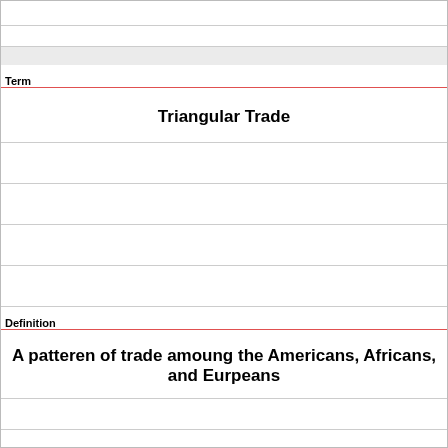|  |
|  |
| Term |
| Triangular Trade |
|  |
|  |
|  |
|  |
| Definition |
| A patteren of trade amoung the Americans, Africans, and Eurpeans |
|  |
|  |
|  |